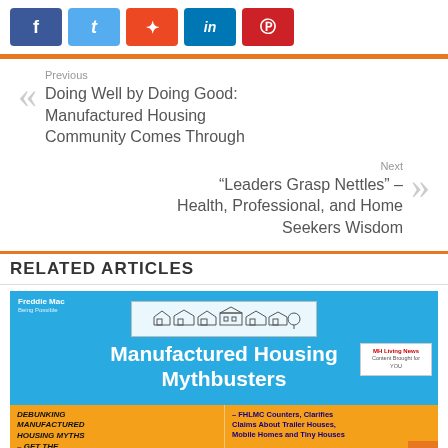[Figure (screenshot): Social media share buttons: Facebook (blue), Twitter (light blue), StumbleUpon (orange-red), LinkedIn (blue), Pinterest (red)]
Previous
Doing Well by Doing Good: Manufactured Housing Community Comes Through
Next
"Leaders Grasp Nettles" – Health, Professional, and Home Seekers Wisdom
RELATED ARTICLES
[Figure (infographic): Manufactured Housing Mythbusters infographic with Freddie Mac branding. Blue background with house outline illustration and white bold text. Bottom half split: left orange section with bold italic text 'DEBUNKING MANUFACTURED HOUSING MYTHS – GET THE FACTS: SAYS'; right orange section with purple bold text '– FHLMC Counters, Clarifies Claims About Trailer Houses, Mobile Homes and Tiny Houses']